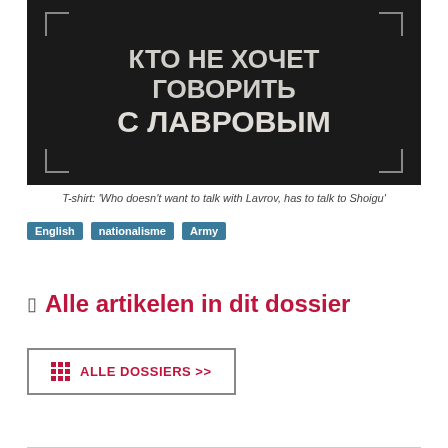[Figure (photo): Dark fabric/t-shirt background with Cyrillic text reading КТО НЕ ХОЧЕТ ГОВОРИТЬ С ЛАВРОВЫМ in bold white/grey letters, with bracket corner markers]
T-shirt: 'Who doesn't want to talk with Lavrov, has to talk to Shoigu'
English
nationalisme
Army
Alle artikelen in dit dossier
ALLE DOSSIERS >>